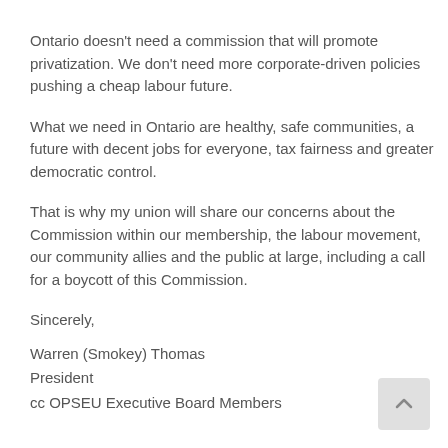Ontario doesn't need a commission that will promote privatization. We don't need more corporate-driven policies pushing a cheap labour future.
What we need in Ontario are healthy, safe communities, a future with decent jobs for everyone, tax fairness and greater democratic control.
That is why my union will share our concerns about the Commission within our membership, the labour movement, our community allies and the public at large, including a call for a boycott of this Commission.
Sincerely,
Warren (Smokey) Thomas
President
cc OPSEU Executive Board Members